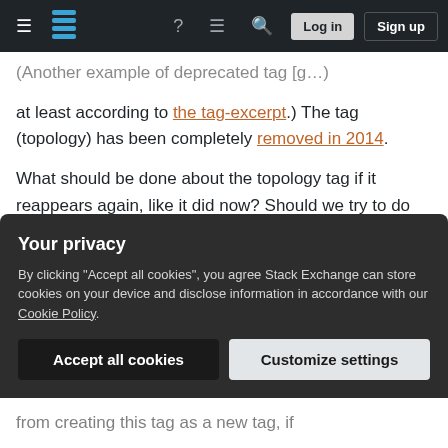Stack Exchange navigation bar with hamburger menu, logo, help, chat, search, Log in, Sign up
(Another example of deprecated tag [topology]) at least according to the tag-excerpt.) The tag (topology) has been completely removed in 2014.
What should be done about the topology tag if it reappears again, like it did now? Should we try to do something to prevent it from being created again?
Should we simply rely on the fact that many users of this site know that this tag is deprecated and if it is created again, some users will remove the tag from the questions
Your privacy
By clicking "Accept all cookies", you agree Stack Exchange can store cookies on your device and disclose information in accordance with our Cookie Policy.
from creating this tag as a new tag, if